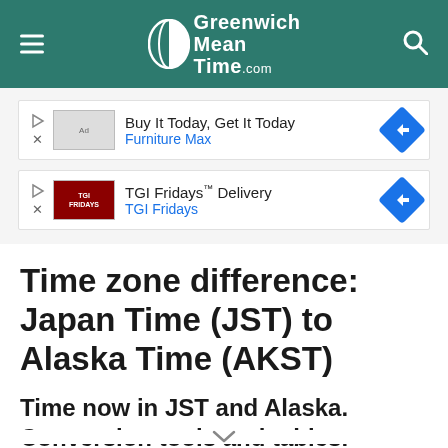Greenwich Mean Time .com
[Figure (screenshot): Advertisement: Buy It Today, Get It Today — Furniture Max]
[Figure (screenshot): Advertisement: TGI Fridays™ Delivery — TGI Fridays]
Time zone difference: Japan Time (JST) to Alaska Time (AKST)
Time now in JST and Alaska. Conversion tools and tables.